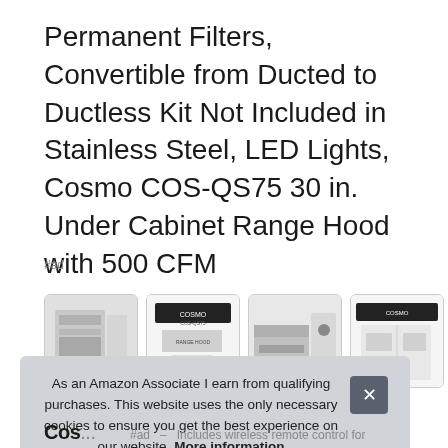Permanent Filters, Convertible from Ducted to Ductless Kit Not Included in Stainless Steel, LED Lights, Cosmo COS-QS75 30 in. Under Cabinet Range Hood with 500 CFM
#ad
[Figure (photo): Four product thumbnail images of the Cosmo COS-QS75 range hood showing the product from different angles and with specification sheets]
As an Amazon Associate I earn from qualifying purchases. This website uses the only necessary cookies to ensure you get the best experience on our website. More information
Cosmo #ad – Includes wireless remote control for